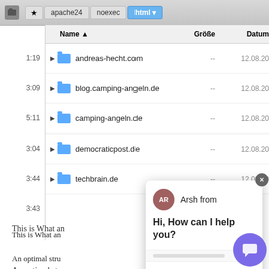[Figure (screenshot): macOS Finder window showing breadcrumb navigation (apache24 > noexec > html) and a file listing with columns Name, Größe, Datum. Five folders are listed: andreas-hecht.com, blog.camping-angeln.de, camping-angeln.de, democraticpost.de, techbrain.de — all with date 12.08.20.]
This is What an
An optimal stru
means setting u
websites, to wh
clear overview, and mistakes are spotted more easily, as no heredity can occur.
[Figure (screenshot): Chat popup overlay with avatar 'AR' labeled 'Arsh from', greeting 'Hi, How can I help you?', and a message input area with placeholder 'Type your message' and a send arrow. A close button (×) appears top-right.]
A WordPress Installation Attempt
Not expecting my day to become exhausting, I started the installation